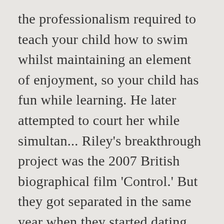the professionalism required to teach your child how to swim whilst maintaining an element of enjoyment, so your child has fun while learning. He later attempted to court her while simultan... Riley's breakthrough project was the 2007 British biographical film 'Control.' But they got separated in the same year when they started dating. 'Control' brought Riley his first set of awards (eight awards), including the 'British Independent Film Award' and the 'London Film Critics Circle Award.' Unfortunately, his band was dropped by its label, and Riley had to resort to acting. Sam is married to husband Craig, 47 (Image: OK!/Sam Riley). What made you suspect Tommy might be a victim? See? No, not always I really